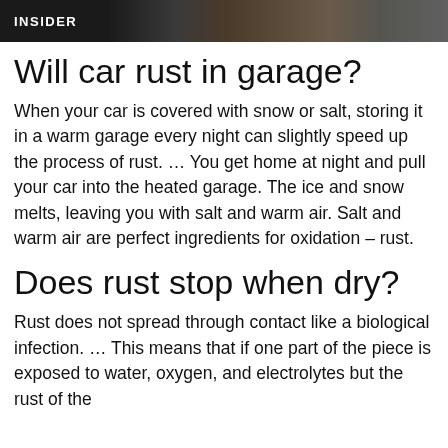[Figure (photo): Dark banner image with 'INSIDER' text label on dark background, appears to show a partial photo]
Will car rust in garage?
When your car is covered with snow or salt, storing it in a warm garage every night can slightly speed up the process of rust. … You get home at night and pull your car into the heated garage. The ice and snow melts, leaving you with salt and warm air. Salt and warm air are perfect ingredients for oxidation – rust.
Does rust stop when dry?
Rust does not spread through contact like a biological infection. … This means that if one part of the piece is exposed to water, oxygen, and electrolytes but the rust of the